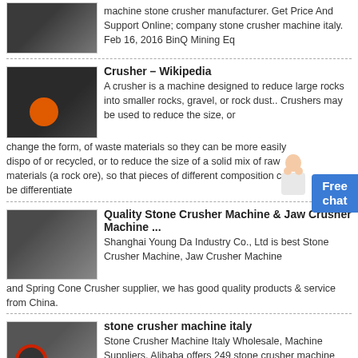[Figure (photo): Partial top image of stone crusher machinery]
machine stone crusher manufacturer. Get Price And Support Online; company stone crusher machine italy. Feb 16, 2016 BinQ Mining Eq
[Figure (photo): Impact crusher machine with orange circular component]
Crusher – Wikipedia
A crusher is a machine designed to reduce large rocks into smaller rocks, gravel, or rock dust.. Crushers may be used to reduce the size, or change the form, of waste materials so they can be more easily disposed of or recycled, or to reduce the size of a solid mix of raw materials (as rock ore), so that pieces of different composition can be differentiate
[Figure (photo): Quality Stone Crusher Machine and Jaw Crusher Machine]
Quality Stone Crusher Machine & Jaw Crusher Machine ...
Shanghai Young Da Industry Co., Ltd is best Stone Crusher Machine, Jaw Crusher Machine and Spring Cone Crusher supplier, we has good quality products & service from China.
[Figure (photo): Stone crusher machine Italy]
stone crusher machine italy
Stone Crusher Machine Italy Wholesale, Machine Suppliers. Alibaba offers 249 stone crusher machine italy products. About 21 % of these are crusher. A wide variety of stone crusher machine